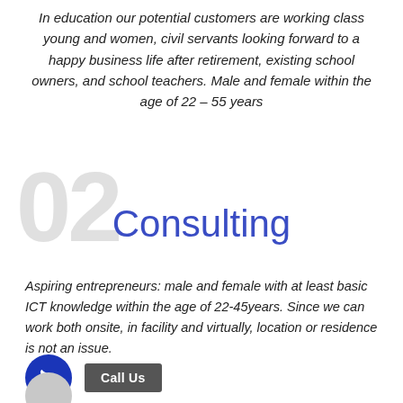In education our potential customers are working class young and women, civil servants looking forward to a happy business life after retirement, existing school owners, and school teachers. Male and female within the age of 22 – 55 years
02
Consulting
Aspiring entrepreneurs: male and female with at least basic ICT knowledge within the age of 22-45years. Since we can work both onsite, in facility and virtually, location or residence is not an issue.
[Figure (other): Dark blue circular phone icon button and a grey 'Call Us' button]